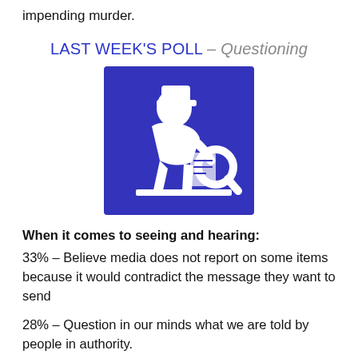impending murder.
LAST WEEK'S POLL – Questioning
[Figure (illustration): Blue square icon with white silhouette of a detective figure examining something with a magnifying glass, in a questioning/investigating pose.]
When it comes to seeing and hearing:
33% – Believe media does not report on some items because it would contradict the message they want to send
28% – Question in our minds what we are told by people in authority.